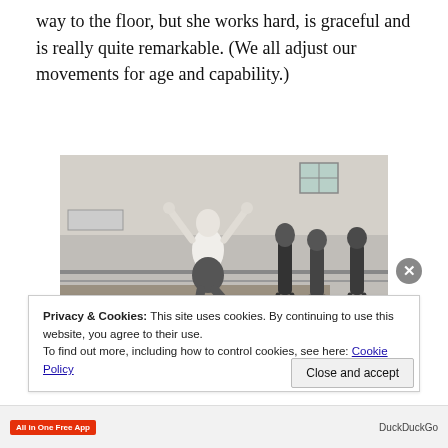way to the floor, but she works hard, is graceful and is really quite remarkable. (We all adjust our movements for age and capability.)
[Figure (photo): Black and white photograph of a dance or ballet studio. A bald man in a white shirt and dark trousers jumps with both arms raised, one leg kicked back. Several young women in dark leotards and ballet shoes stand to the right, watching. Ballet barres line the wall in the background, with large windows above.]
Privacy & Cookies: This site uses cookies. By continuing to use this website, you agree to their use.
To find out more, including how to control cookies, see here: Cookie Policy
Close and accept